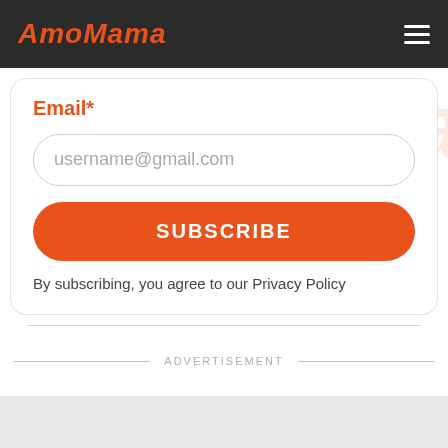AmoMama
Email*
username@gmail.com
SUBSCRIBE
By subscribing, you agree to our Privacy Policy
ADVERTISEMENT